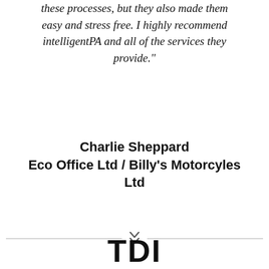these processes, but they also made them easy and stress free. I highly recommend intelligentPA and all of the services they provide."
Charlie Sheppard
Eco Office Ltd / Billy's Motorcyles Ltd
[Figure (illustration): Horizontal divider with double chevron (>>) symbol in center]
[Figure (logo): Partial logo text 'TDI' in large bold sans-serif font at bottom of page]